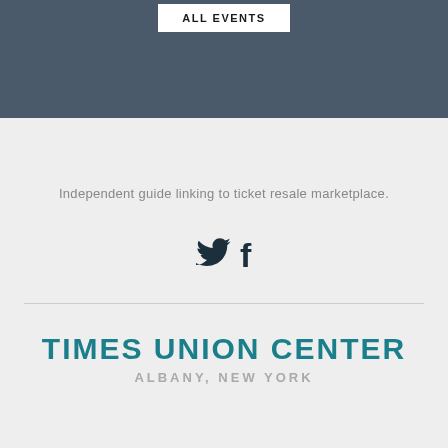ALL EVENTS
Independent guide linking to ticket resale marketplace.
[Figure (illustration): Twitter and Facebook social media icons]
TIMES UNION CENTER
ALBANY, NEW YORK